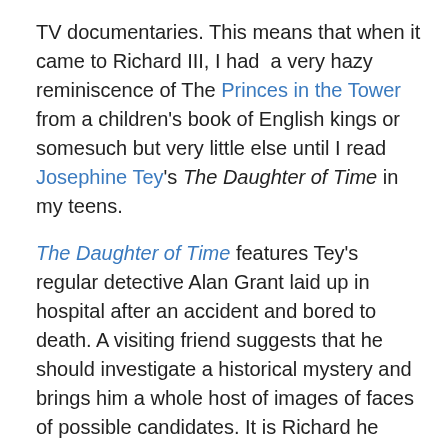TV documentaries. This means that when it came to Richard III, I had a very hazy reminiscence of The Princes in the Tower from a children's book of English kings or somesuch but very little else until I read Josephine Tey's The Daughter of Time in my teens.
The Daughter of Time features Tey's regular detective Alan Grant laid up in hospital after an accident and bored to death. A visiting friend suggests that he should investigate a historical mystery and brings him a whole host of images of faces of possible candidates. It is Richard he settles on, convinced that the face in his portrait belongs on the bench, not in the dock, and with the help of an American actually supposed to be researching Henry VII and Morton's Fork, he sets to find out the true murderer in a 500-year-old case.